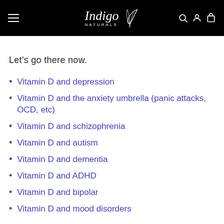Indigo Naturals
Let's go there now.
Vitamin D and depression
Vitamin D and the anxiety umbrella (panic attacks, OCD, etc)
Vitamin D and schizophrenia
Vitamin D and autism
Vitamin D and dementia
Vitamin D and ADHD
Vitamin D and bipolar
Vitamin D and mood disorders